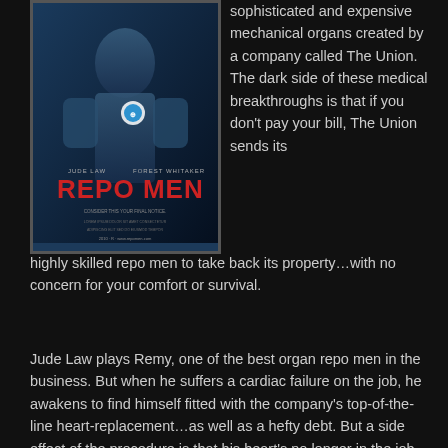[Figure (photo): Movie poster for 'Repo Men' featuring Jude Law and Forest Whitaker. Dark blue-toned poster with actor names at top and the title 'REPO MEN' in large red letters.]
sophisticated and expensive mechanical organs created by a company called The Union. The dark side of these medical breakthroughs is that if you don't pay your bill, The Union sends its highly skilled repo men to take back its property…with no concern for your comfort or survival.
Jude Law plays Remy, one of the best organ repo men in the business. But when he suffers a cardiac failure on the job, he awakens to find himself fitted with the company's top-of-the-line heart-replacement…as well as a hefty debt. But a side effect of the procedure is that his heart's no longer in the job. When he can't make the payments, The Union sends its toughest enforcer, Remy's former partner Jake (Academy Award® winner Forest Whitaker), to track him down.